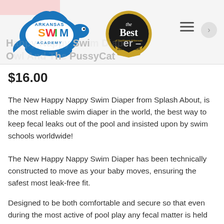[Figure (logo): Arkansas Swim Academy logo with turtle and colorful SWIM text]
[Figure (logo): The Best of Northwest Arkansas 2021 Winner gold badge]
Happy Nappy Swim Diaper – Owl And The PussyCat
$16.00
The New Happy Nappy Swim Diaper from Splash About, is the most reliable swim diaper in the world, the best way to keep fecal leaks out of the pool and insisted upon by swim schools worldwide!
The New Happy Nappy Swim Diaper has been technically constructed to move as your baby moves, ensuring the safest most leak-free fit.
Designed to be both comfortable and secure so that even during the most active of pool play any fecal matter is held